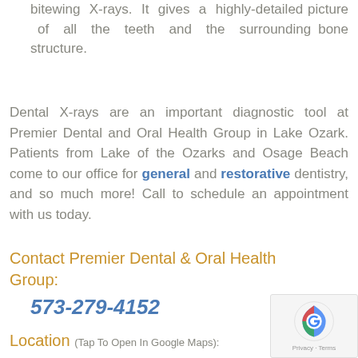bitewing X-rays. It gives a highly-detailed picture of all the teeth and the surrounding bone structure.
Dental X-rays are an important diagnostic tool at Premier Dental and Oral Health Group in Lake Ozark. Patients from Lake of the Ozarks and Osage Beach come to our office for general and restorative dentistry, and so much more! Call to schedule an appointment with us today.
Contact Premier Dental & Oral Health Group:
573-279-4152
Location (Tap To Open In Google Maps):